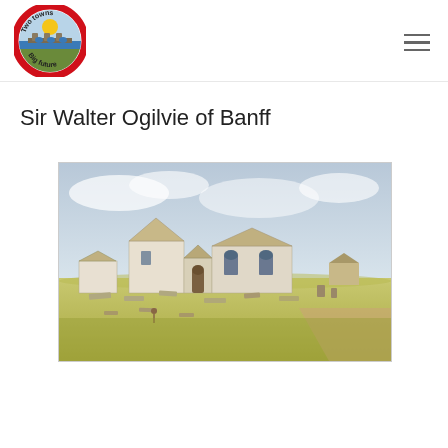[Figure (logo): Circular logo with red border, illustration of bridge with blue water and sun, text reading 'Two towns' at top and 'Big future' at bottom]
Sir Walter Ogilvie of Banff
[Figure (illustration): Watercolour illustration of a historic whitewashed church or chapel building with stone walls, set in a grassy landscape with gravestones/markers in the foreground and a path to the right. Cloudy sky in background.]